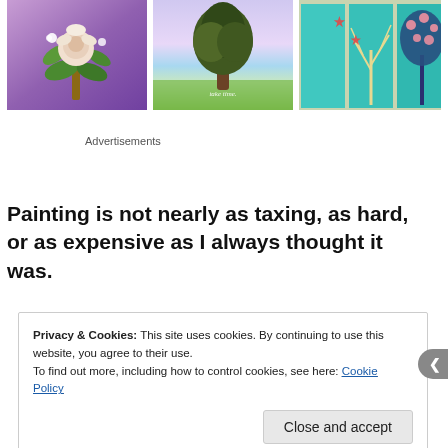[Figure (photo): Three paintings displayed side by side: a floral bouquet on purple background, a tree with text 'take time.' on gradient sky/grass background, and abstract tree artwork on teal panels.]
Advertisements
Painting is not nearly as taxing, as hard, or as expensive as I always thought it was.
Privacy & Cookies: This site uses cookies. By continuing to use this website, you agree to their use.
To find out more, including how to control cookies, see here: Cookie Policy